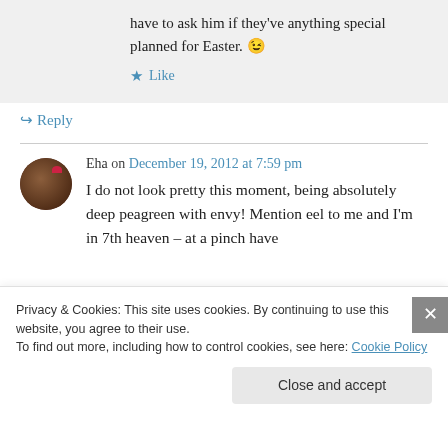have to ask him if they've anything special planned for Easter. 😉
★ Like
↳ Reply
Eha on December 19, 2012 at 7:59 pm
I do not look pretty this moment, being absolutely deep peagreen with envy! Mention eel to me and I'm in 7th heaven – at a pinch have
Privacy & Cookies: This site uses cookies. By continuing to use this website, you agree to their use.
To find out more, including how to control cookies, see here: Cookie Policy
Close and accept